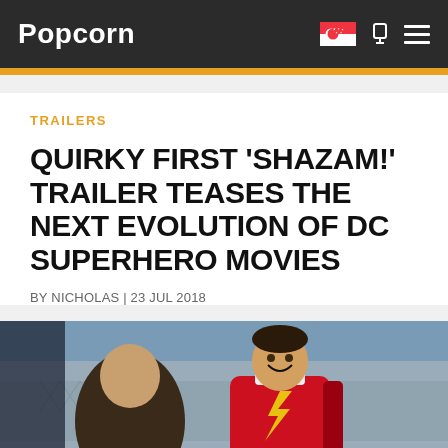Popcorn
TRAILERS
QUIRKY FIRST 'SHAZAM!' TRAILER TEASES THE NEXT EVOLUTION OF DC SUPERHERO MOVIES
BY NICHOLAS | 23 JUL 2018
[Figure (photo): A superhero in red and gold costume (Shazam) smiling, standing outdoors near a fence, partially cropped photograph from the Shazam! movie]